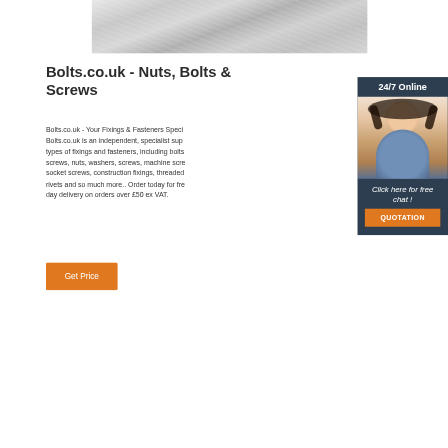[Figure (photo): Brushed metal texture banner image at the top of the page]
Bolts.co.uk - Nuts, Bolts & Screws
Bolts.co.uk - Your Fixings & Fasteners Specialist. Bolts.co.uk is an independent, specialist supplier of all types of fixings and fasteners, including bolts, set screws, nuts, washers, screws, machine screws, socket screws, construction fixings, threaded bar, rivets and so much more.. Order today for free next day delivery on orders over £50 ex VAT.
[Figure (photo): Customer service woman wearing headset, smiling, with 24/7 Online header and Click here for free chat text in dark blue sidebar, and QUOTATION orange button]
Get Price